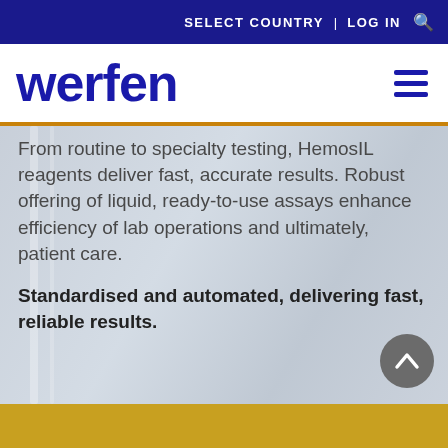SELECT COUNTRY | LOG IN 🔍
werfen
From routine to specialty testing, HemosIL reagents deliver fast, accurate results. Robust offering of liquid, ready-to-use assays enhance efficiency of lab operations and ultimately, patient care.
Standardised and automated, delivering fast, reliable results.